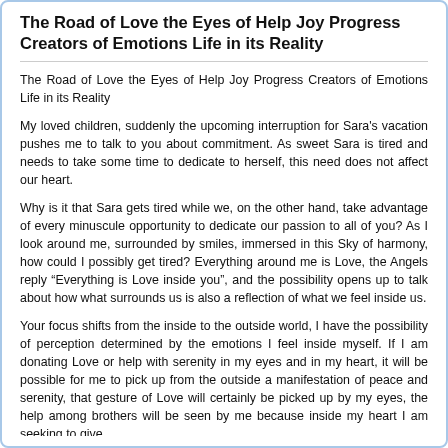The Road of Love the Eyes of Help Joy Progress Creators of Emotions Life in its Reality
The Road of Love the Eyes of Help Joy Progress Creators of Emotions Life in its Reality
My loved children, suddenly the upcoming interruption for Sara's vacation pushes me to talk to you about commitment. As sweet Sara is tired and needs to take some time to dedicate to herself, this need does not affect our heart.
Why is it that Sara gets tired while we, on the other hand, take advantage of every minuscule opportunity to dedicate our passion to all of you? As I look around me, surrounded by smiles, immersed in this Sky of harmony, how could I possibly get tired? Everything around me is Love, the Angels reply “Everything is Love inside you”, and the possibility opens up to talk about how what surrounds us is also a reflection of what we feel inside us.
Your focus shifts from the inside to the outside world, I have the possibility of perception determined by the emotions I feel inside myself. If I am donating Love or help with serenity in my eyes and in my heart, it will be possible for me to pick up from the outside a manifestation of peace and serenity, that gesture of Love will certainly be picked up by my eyes, the help among brothers will be seen by me because inside my heart I am seeking to give